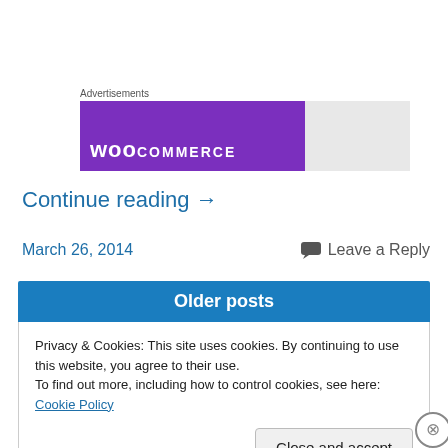Advertisements
[Figure (illustration): WooCommerce advertisement banner — purple left section with 'WooCommerce' text in white, gray right section]
Continue reading →
March 26, 2014
Leave a Reply
Older posts
Privacy & Cookies: This site uses cookies. By continuing to use this website, you agree to their use.
To find out more, including how to control cookies, see here: Cookie Policy
Close and accept